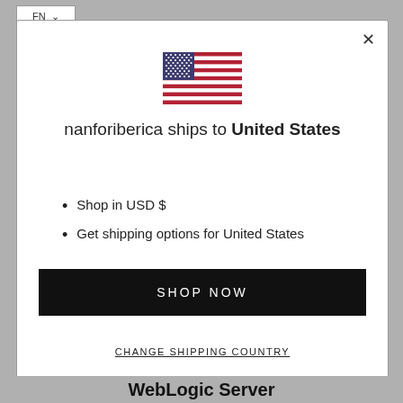[Figure (screenshot): FN dropdown menu button in top-left corner of browser/app]
[Figure (illustration): United States flag icon]
nanforiberica ships to United States
Shop in USD $
Get shipping options for United States
SHOP NOW
CHANGE SHIPPING COUNTRY
WebLogic Server